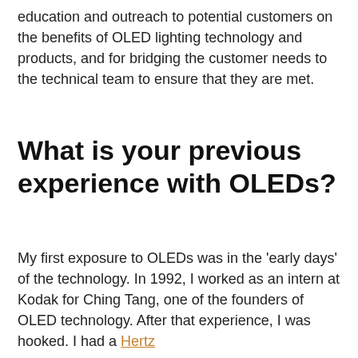education and outreach to potential customers on the benefits of OLED lighting technology and products, and for bridging the customer needs to the technical team to ensure that they are met.
What is your previous experience with OLEDs?
My first exposure to OLEDs was in the 'early days' of the technology. In 1992, I worked as an intern at Kodak for Ching Tang, one of the founders of OLED technology. After that experience, I was hooked. I had a Hertz